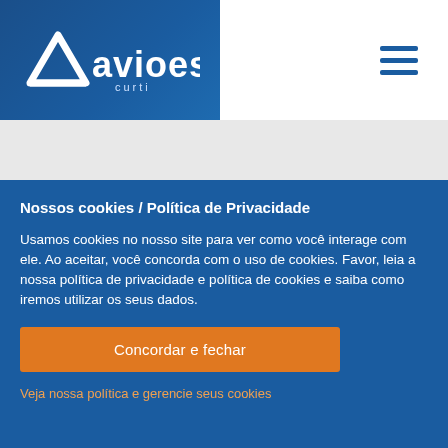[Figure (logo): Avioeste Curtil logo on dark blue background with triangular chevron icon]
[Figure (other): Hamburger menu icon (three horizontal lines) on white background]
Nossos cookies / Política de Privacidade
Usamos cookies no nosso site para ver como você interage com ele. Ao aceitar, você concorda com o uso de cookies. Favor, leia a nossa política de privacidade e política de cookies e saiba como iremos utilizar os seus dados.
Concordar e fechar
Veja nossa política e gerencie seus cookies